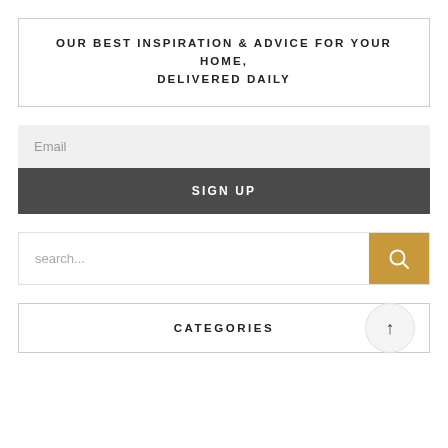OUR BEST INSPIRATION & ADVICE FOR YOUR HOME, DELIVERED DAILY
Email
SIGN UP
search...
CATEGORIES